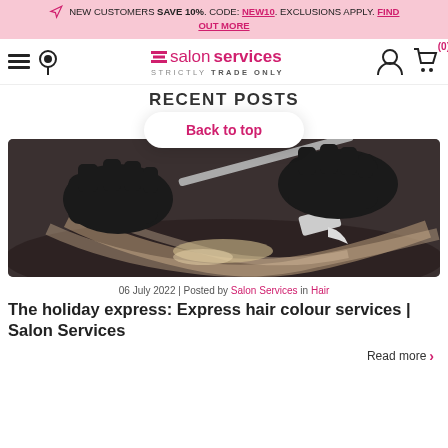NEW CUSTOMERS SAVE 10%. CODE: NEW10. EXCLUSIONS APPLY. FIND OUT MORE
[Figure (screenshot): Salon Services website navigation bar with hamburger menu, location pin, Salon Services logo, user icon, and cart icon showing (0)]
RECENT POSTS
Back to top
[Figure (photo): Close-up photo of a hairdresser in black gloves applying hair dye/colour with a brush to a client's dark hair]
06 July 2022 | Posted by Salon Services in Hair
The holiday express: Express hair colour services | Salon Services
Read more >